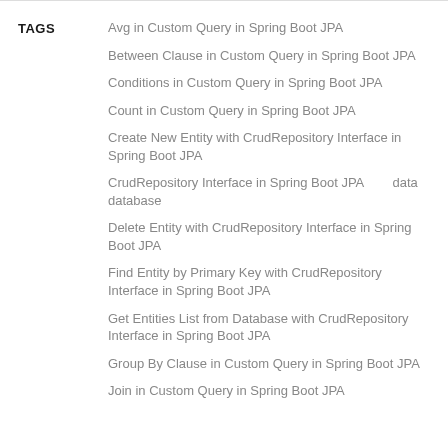TAGS
Avg in Custom Query in Spring Boot JPA
Between Clause in Custom Query in Spring Boot JPA
Conditions in Custom Query in Spring Boot JPA
Count in Custom Query in Spring Boot JPA
Create New Entity with CrudRepository Interface in Spring Boot JPA
CrudRepository Interface in Spring Boot JPA       data   database
Delete Entity with CrudRepository Interface in Spring Boot JPA
Find Entity by Primary Key with CrudRepository Interface in Spring Boot JPA
Get Entities List from Database with CrudRepository Interface in Spring Boot JPA
Group By Clause in Custom Query in Spring Boot JPA
Join in Custom Query in Spring Boot JPA